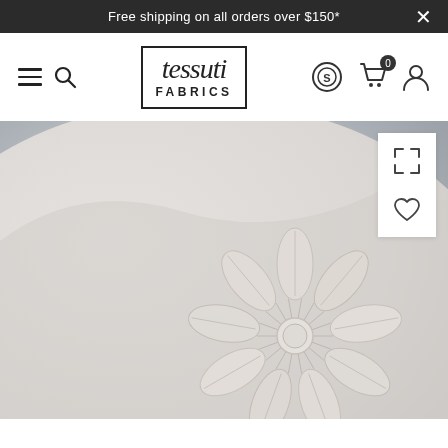Free shipping on all orders over $150*
[Figure (logo): Tessuti Fabrics logo in a hand-drawn style box with italic 'tessuti' text above 'FABRICS' in bold caps]
[Figure (photo): Close-up product photo of a white fabric cushion with embroidered floral daisy pattern in cream/off-white thread on a grey-blue background]